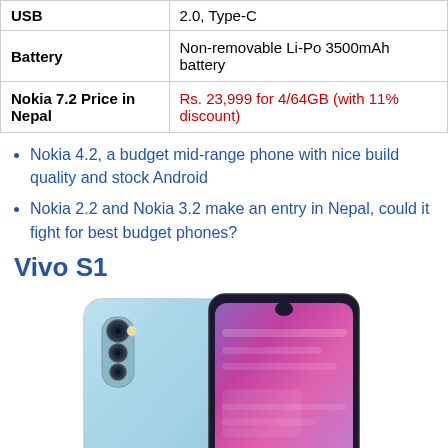| Feature | Details |
| --- | --- |
| USB | 2.0, Type-C |
| Battery | Non-removable Li-Po 3500mAh battery |
| Nokia 7.2 Price in Nepal | Rs. 23,999 for 4/64GB (with 11% discount) |
Nokia 4.2, a budget mid-range phone with nice build quality and stock Android
Nokia 2.2 and Nokia 3.2 make an entry in Nepal, could it fight for best budget phones?
Vivo S1
[Figure (photo): Photo of Vivo S1 smartphone showing front and back views with light blue gradient design, triple rear cameras, and dewdrop notch display with purple/pink gradient screen.]